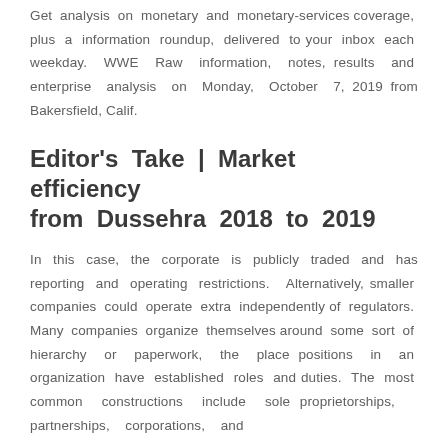Get analysis on monetary and monetary-services coverage, plus a information roundup, delivered to your inbox each weekday. WWE Raw information, notes, results and enterprise analysis on Monday, October 7, 2019 from Bakersfield, Calif.
Editor's Take | Market efficiency from Dussehra 2018 to 2019
In this case, the corporate is publicly traded and has reporting and operating restrictions. Alternatively, smaller companies could operate extra independently of regulators. Many companies organize themselves around some sort of hierarchy or paperwork, the place positions in an organization have established roles and duties. The most common constructions include sole proprietorships, partnerships, corporations, and